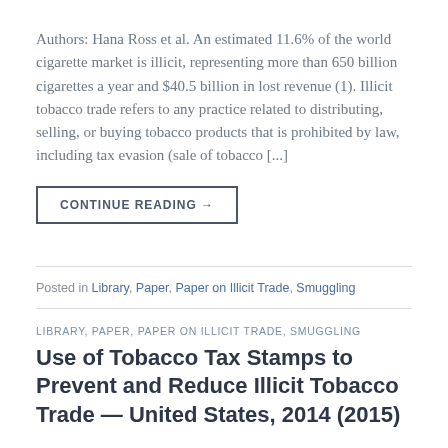Authors: Hana Ross et al. An estimated 11.6% of the world cigarette market is illicit, representing more than 650 billion cigarettes a year and $40.5 billion in lost revenue (1). Illicit tobacco trade refers to any practice related to distributing, selling, or buying tobacco products that is prohibited by law, including tax evasion (sale of tobacco [...]
CONTINUE READING →
Posted in Library, Paper, Paper on Illicit Trade, Smuggling
LIBRARY, PAPER, PAPER ON ILLICIT TRADE, SMUGGLING
Use of Tobacco Tax Stamps to Prevent and Reduce Illicit Tobacco Trade — United States, 2014 (2015)